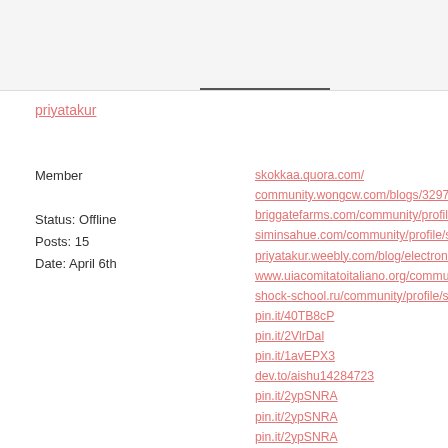priyatakur
Member
Status: Offline
Posts: 15
Date: April 6th
skokkaa.quora.com/
community.wongcw.com/blogs/32970/Priyatakur
briggatefarms.com/community/profile/skokkaa
siminsahue.com/community/profile/skokkaa/
priyatakur.weebly.com/blog/electronic-city-esco
www.uiacomitatoitaliano.org/community/profile/s
shock-school.ru/community/profile/skokkaa/
pin.it/40TB8cP
pin.it/2VlrDal
pin.it/1avEPX3
dev.to/aishu14284723
pin.it/2ypSNRA
pin.it/2ypSNRA
pin.it/2ypSNRA
www.tinkercad.com/users/cYNj2niH1jQ-skokkaa
www.indiamike.com/india/members/priyatakur-u
skokkaa.doodlekit.com/blog/entry/19365207/ho
www.iamexpat.nl/member/electroniccity-escorts
social.technet.microsoft.com/Profile/electronicci
globalhealthtrials.tghn.org/community/members
grid.cryptact.com/user/ctt-1898714883611/
www.ourboox.com/i-am/skokkaa/
linkmate.mn.co/members/9625086
rebecca-whaley.tribe.so/user/electroniccityesco
howtolive.tribe.so/user/electroniccityescorts
www.as7abe.com/wall/user/skokkaa